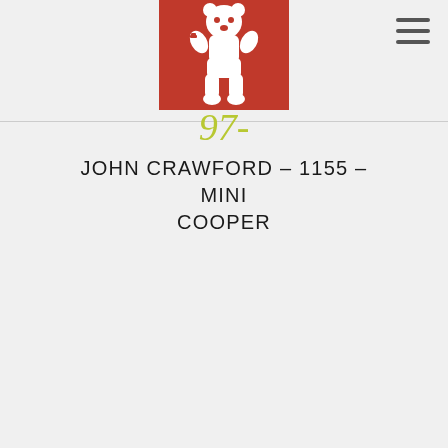[Figure (logo): Red square logo with white heraldic bear rampant (Berlin bear), white figure on red background]
97-
JOHN CRAWFORD – 1155 – MINI COOPER